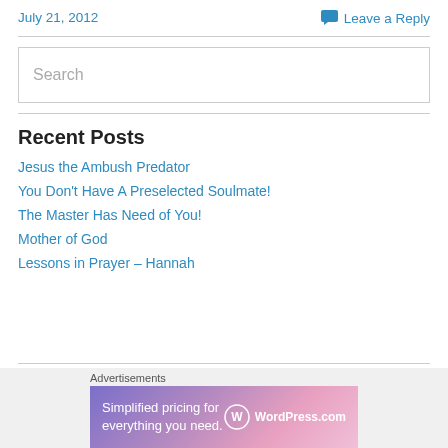July 21, 2012 | Leave a Reply
Search
Recent Posts
Jesus the Ambush Predator
You Don't Have A Preselected Soulmate!
The Master Has Need of You!
Mother of God
Lessons in Prayer – Hannah
[Figure (infographic): WordPress.com advertisement banner: 'Simplified pricing for everything you need.' with WordPress.com logo on a purple-pink gradient background]
Advertisements